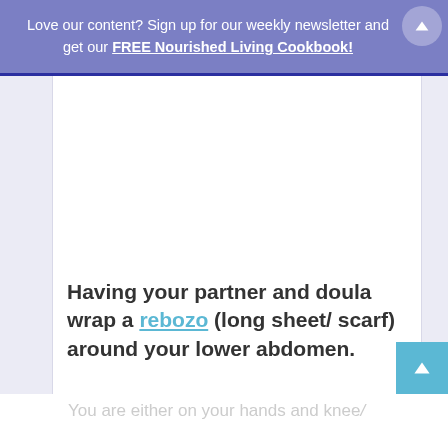Love our content? Sign up for our weekly newsletter and get our FREE Nourished Living Cookbook!
[Figure (other): Advertisement placeholder (blank white space)]
Having your partner and doula wrap a rebozo (long sheet/ scarf) around your lower abdomen.
You are either on your hands and knees/